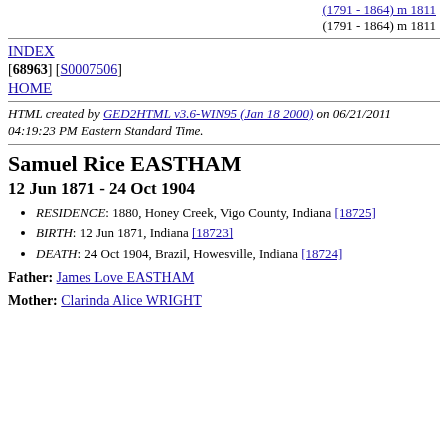(1791 - 1864) m 1811
INDEX
[68963] [S0007506]
HOME
HTML created by GED2HTML v3.6-WIN95 (Jan 18 2000) on 06/21/2011 04:19:23 PM Eastern Standard Time.
Samuel Rice EASTHAM
12 Jun 1871 - 24 Oct 1904
RESIDENCE: 1880, Honey Creek, Vigo County, Indiana [18725]
BIRTH: 12 Jun 1871, Indiana [18723]
DEATH: 24 Oct 1904, Brazil, Howesville, Indiana [18724]
Father: James Love EASTHAM
Mother: Clarinda Alice WRIGHT